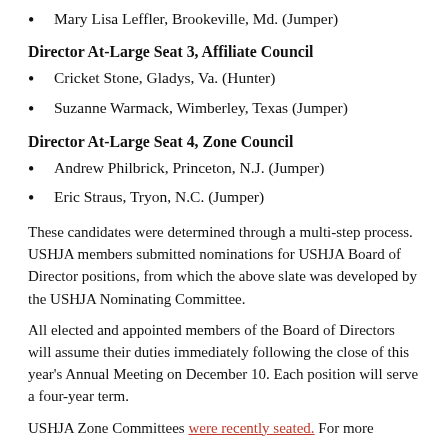Mary Lisa Leffler, Brookeville, Md. (Jumper)
Director At-Large Seat 3, Affiliate Council
Cricket Stone, Gladys, Va. (Hunter)
Suzanne Warmack, Wimberley, Texas (Jumper)
Director At-Large Seat 4, Zone Council
Andrew Philbrick, Princeton, N.J. (Jumper)
Eric Straus, Tryon, N.C. (Jumper)
These candidates were determined through a multi-step process. USHJA members submitted nominations for USHJA Board of Director positions, from which the above slate was developed by the USHJA Nominating Committee.
All elected and appointed members of the Board of Directors will assume their duties immediately following the close of this year's Annual Meeting on December 10. Each position will serve a four-year term.
USHJA Zone Committees were recently seated. For more